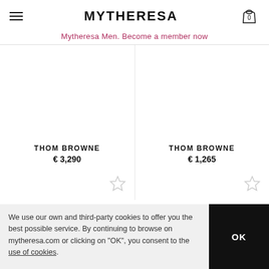MYTHERESA
Mytheresa Men. Become a member now
THOM BROWNE
€ 3,290
THOM BROWNE
€ 1,265
We use our own and third-party cookies to offer you the best possible service. By continuing to browse on mytheresa.com or clicking on "OK", you consent to the use of cookies.